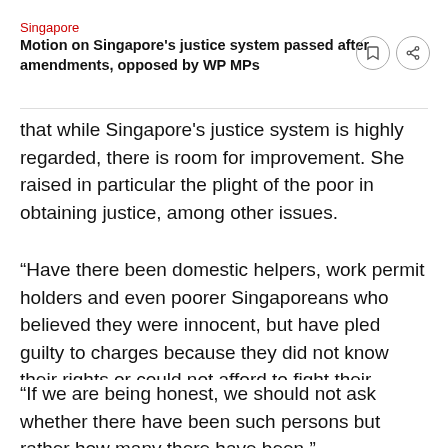Singapore
Motion on Singapore's justice system passed after amendments, opposed by WP MPs
that while Singapore's justice system is highly regarded, there is room for improvement. She raised in particular the plight of the poor in obtaining justice, among other issues.
“Have there been domestic helpers, work permit holders and even poorer Singaporeans who believed they were innocent, but have pled guilty to charges because they did not know their rights or could not afford to fight their cases?” she asked.
“If we are being honest, we should not ask whether there have been such persons but rather how many there have been.”